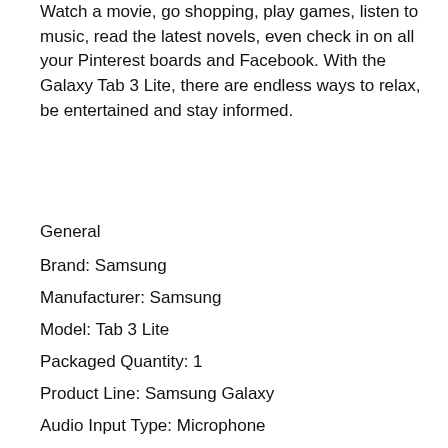Watch a movie, go shopping, play games, listen to music, read the latest novels, even check in on all your Pinterest boards and Facebook. With the Galaxy Tab 3 Lite, there are endless ways to relax, be entertained and stay informed.
General
Brand: Samsung
Manufacturer: Samsung
Model: Tab 3 Lite
Packaged Quantity: 1
Product Line: Samsung Galaxy
Audio Input Type: Microphone
Card Reader Supported Flash Memory Cards: microSDHC
Dimensions & Weight
Depth: 0.97 cm